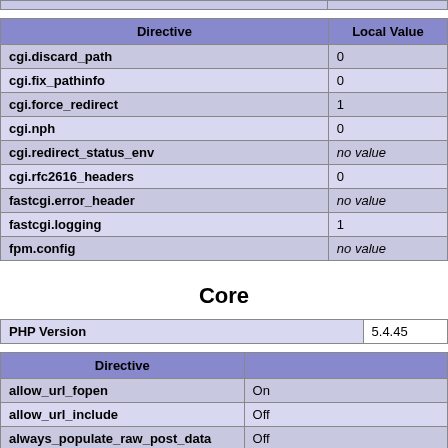| Directive | Local Value |
| --- | --- |
| cgi.discard_path | 0 |
| cgi.fix_pathinfo | 0 |
| cgi.force_redirect | 1 |
| cgi.nph | 0 |
| cgi.redirect_status_env | no value |
| cgi.rfc2616_headers | 0 |
| fastcgi.error_header | no value |
| fastcgi.logging | 1 |
| fpm.config | no value |
Core
| PHP Version | 5.4.45 |
| --- | --- |
| Directive |  |
| --- | --- |
| allow_url_fopen | On |
| allow_url_include | Off |
| always_populate_raw_post_data | Off |
| arg_separator.input | & |